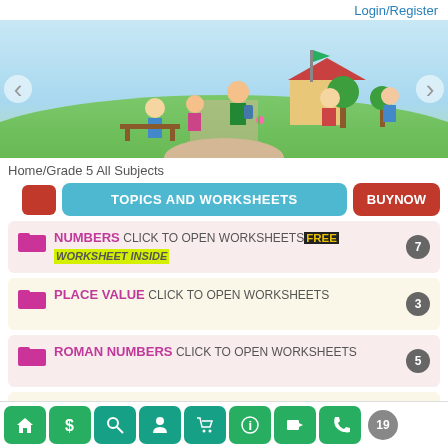Login/Register
[Figure (illustration): Colorful cartoon banner showing children playing outdoors near a school/park scene with grass, trees, and a path.]
Home/Grade 5 All Subjects
TOPICS AND WORKSHEETS
BUYNOW
NUMBERS CLICK TO OPEN WORKSHEETS FREE WORKSHEET INSIDE — 7
PLACE VALUE CLICK TO OPEN WORKSHEETS — 3
ROMAN NUMBERS CLICK TO OPEN WORKSHEETS — 5
HCF AND LCM CLICK TO OPEN WORKSHEETS — 3
Navigation icons: home, dollar, search, person, cart, info, video, phone — 19